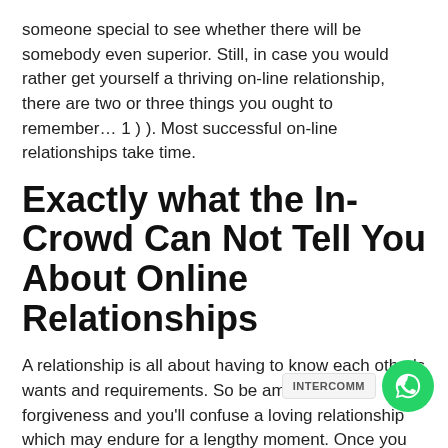someone special to see whether there will be somebody even superior. Still, in case you would rather get yourself a thriving on-line relationship, there are two or three things you ought to remember… 1 ) ). Most successful on-line relationships take time.
Exactly what the In-Crowd Can Not Tell You About Online Relationships
A relationship is all about having to know each other's wants and requirements. So be amenable to forgiveness and you'll confuse a loving relationship which may endure for a lengthy moment. Once you enter a relationship with an individual who you really admire, you are going to maintain a place to work out things.
Whenever you truly feel particularly un-social or angry, you